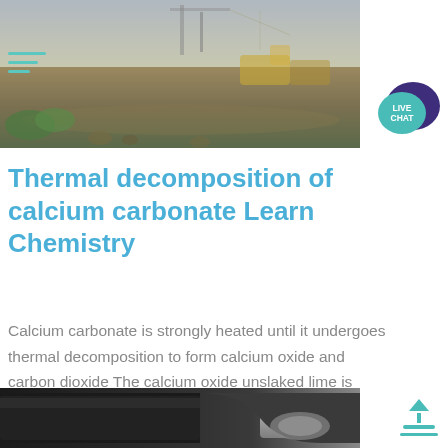[Figure (photo): Construction or demolition site with machinery, dirt ground, and scattered debris in the background]
[Figure (infographic): Live Chat button with teal circle and dark purple speech bubble]
Thermal decomposition of calcium carbonate Learn Chemistry
Calcium carbonate is strongly heated until it undergoes thermal decomposition to form calcium oxide and carbon dioxide The calcium oxide unslaked lime is nbsp ...
[Figure (photo): Close-up of dark industrial pipes or tubes]